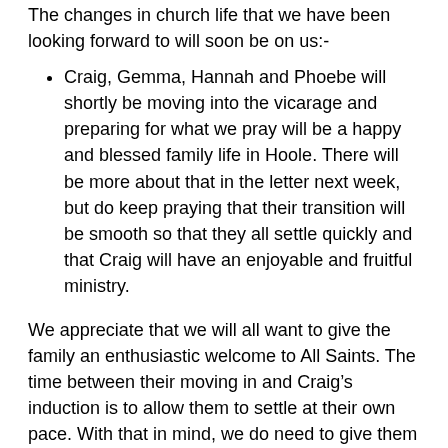The changes in church life that we have been looking forward to will soon be on us:-
Craig, Gemma, Hannah and Phoebe will shortly be moving into the vicarage and preparing for what we pray will be a happy and blessed family life in Hoole. There will be more about that in the letter next week, but do keep praying that their transition will be smooth so that they all settle quickly and that Craig will have an enjoyable and fruitful ministry.
We appreciate that we will all want to give the family an enthusiastic welcome to All Saints. The time between their moving in and Craig's induction is to allow them to settle at their own pace. With that in mind, we do need to give them time and space to do so and to be guided by them over involvement with the church and individuals.